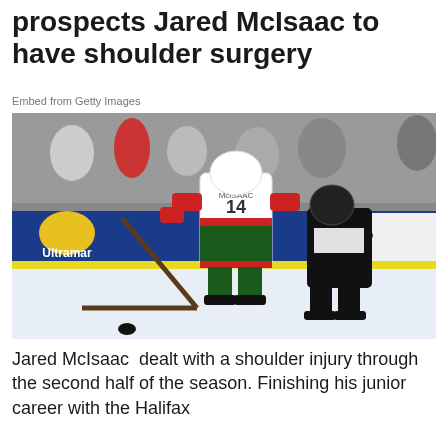prospects Jared McIsaac to have shoulder surgery
Embed from Getty Images
[Figure (photo): Hockey player wearing white jersey number 14 with name McIsaac competing against a player in a black jersey on ice, with Ultramar advertising boards visible in the background and spectators watching]
Jared McIsaac  dealt with a shoulder injury through the second half of the season. Finishing his junior career with the Halifax